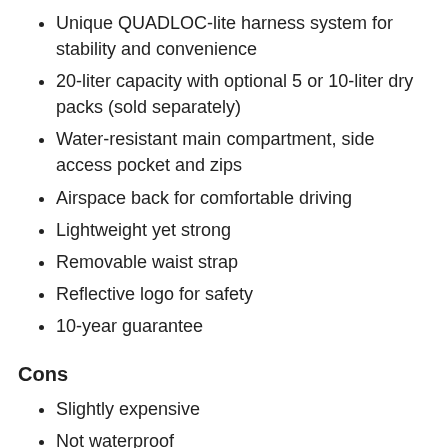Unique QUADLOC-lite harness system for stability and convenience
20-liter capacity with optional 5 or 10-liter dry packs (sold separately)
Water-resistant main compartment, side access pocket and zips
Airspace back for comfortable driving
Lightweight yet strong
Removable waist strap
Reflective logo for safety
10-year guarantee
Cons
Slightly expensive
Not waterproof
Only 1 outer pocket
Hydration pack has to be bought